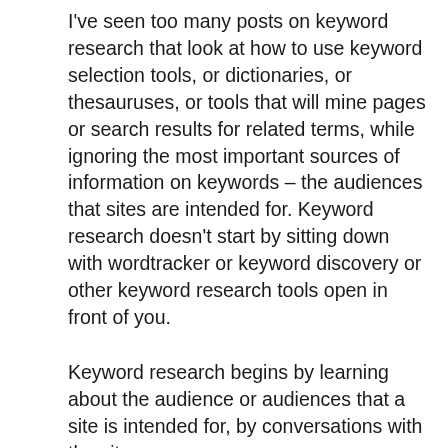I've seen too many posts on keyword research that look at how to use keyword selection tools, or dictionaries, or thesauruses, or tools that will mine pages or search results for related terms, while ignoring the most important sources of information on keywords – the audiences that sites are intended for. Keyword research doesn't start by sitting down with wordtracker or keyword discovery or other keyword research tools open in front of you.
Keyword research begins by learning about the audience or audiences that a site is intended for, by conversations with the site owners or